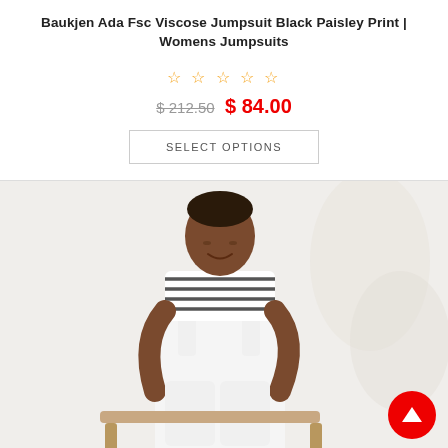Baukjen Ada Fsc Viscose Jumpsuit Black Paisley Print | Womens Jumpsuits
☆ ☆ ☆ ☆ ☆
$ 212.50  $ 84.00
SELECT OPTIONS
[Figure (photo): A woman wearing white overalls/jumpsuit with a black and white striped shirt underneath, sitting on a wooden chair against a white background. She is smiling and looking down.]